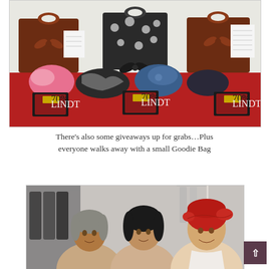[Figure (photo): Photo of gift bags with bows, yarn skeins, fabric, chocolate bars arranged on a red tablecloth. Three gift bags (brown, black-and-white polka dot, brown) are visible at the back, with colorful items and Lindt 70% chocolate bars in front.]
There's also some giveaways up for grabs…Plus everyone walks away with a small Goodie Bag
[Figure (photo): Photo of three women smiling together. The woman on the right is wearing a red head wrap/turban. They appear to be at an indoor event with clothing racks visible in the background.]